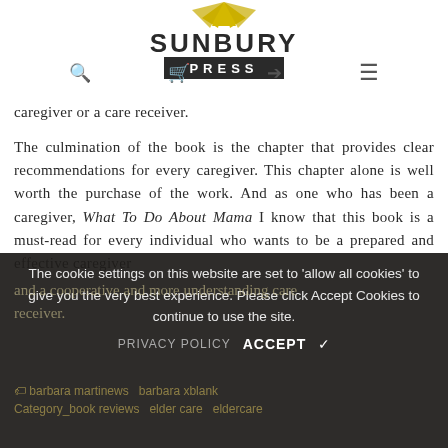[Figure (logo): Sunbury Press logo with sun/star shape above text]
caregiver or a care receiver.
The culmination of the book is the chapter that provides clear recommendations for every caregiver. This chapter alone is well worth the purchase of the work. And as one who has been a caregiver, What To Do About Mama I know that this book is a must-read for every individual who wants to be a prepared and effective caregiver
and a cooperative and more understanding care receiver.
The cookie settings on this website are set to 'allow all cookies' to give you the very best experience. Please click Accept Cookies to continue to use the site.
PRIVACY POLICY   ACCEPT ✓
barbara martinews   barbara blank   Category_book reviews   elder care   eldercare